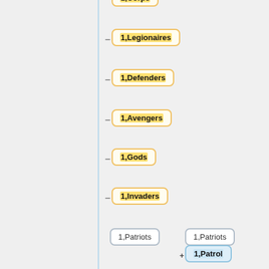[Figure (flowchart): Hierarchical tree/list UI showing nodes with labels: 1,Corps (partial, top), 1,Legionaires, 1,Defenders, 1,Avengers, 1,Gods, 1,Invaders (yellow-bordered, left column with dash connectors), 1,Patriots (white neutral box, middle), 1,Patriots (white neutral box, right), followed by blue-bordered nodes with plus: 1,Patrol, 1,Prime, 1,Protectors, 1,Rangers, 1,Rebels, 1,Shadows (right column).]